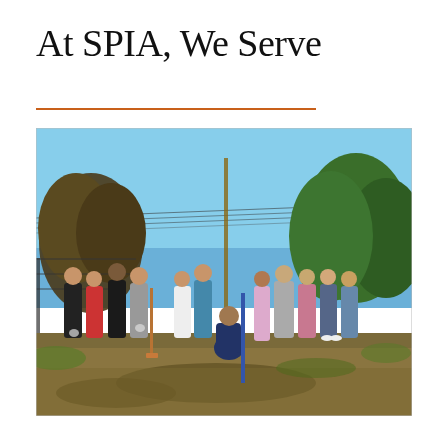At SPIA, We Serve
[Figure (photo): Group photo of approximately 12 SPIA students/volunteers standing outdoors on a cleared dirt/grass area, holding shovels. Blue sky with trees visible in background, with power lines crossing. People are smiling, wearing casual clothes and gloves.]